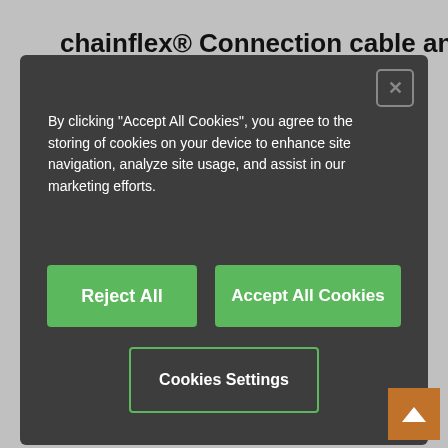chainflex® Connection cable angled
By clicking "Accept All Cookies", you agree to the storing of cookies on your device to enhance site navigation, analyze site usage, and assist in our marketing efforts.
Requirements: For heaviest duty applications
Outer jacket: TPE
Coolant resistant
Low-temperature-flexible
Hydrolysis and microbe-resistant
Halogen-free
Silicone-free